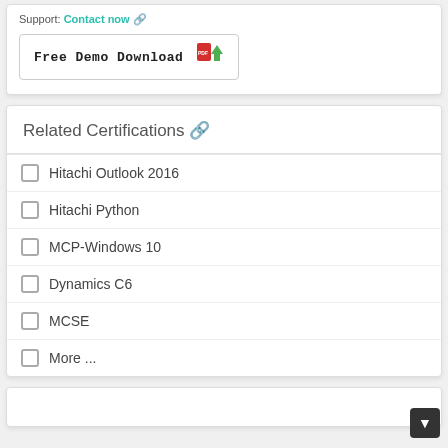Support: Contact now 🔗
[Figure (other): Free Demo Download button with PDF icon and green download arrow]
Related Certifications 🔗
Hitachi Outlook 2016
Hitachi Python
MCP-Windows 10
Dynamics C6
MCSE
More ...